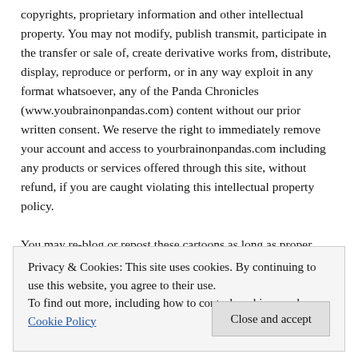copyrights, proprietary information and other intellectual property. You may not modify, publish transmit, participate in the transfer or sale of, create derivative works from, distribute, display, reproduce or perform, or in any way exploit in any format whatsoever, any of the Panda Chronicles (www.youbrainonpandas.com) content without our prior written consent. We reserve the right to immediately remove your account and access to yourbrainonpandas.com including any products or services offered through this site, without refund, if you are caught violating this intellectual property policy.
You may re-blog or repost these cartoons as long as proper copyright notice and links back to The Panda Chronicles are
Privacy & Cookies: This site uses cookies. By continuing to use this website, you agree to their use. To find out more, including how to control cookies, see here: Cookie Policy